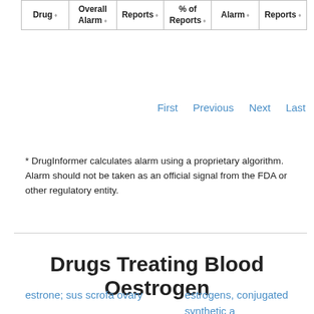| Drug | Overall Alarm | Reports | % of Reports | Alarm | Reports |
| --- | --- | --- | --- | --- | --- |
First   Previous   Next   Last
* DrugInformer calculates alarm using a proprietary algorithm. Alarm should not be taken as an official signal from the FDA or other regulatory entity.
Drugs Treating Blood Oestrogen
estrone; sus scrofa ovary
estrogens, conjugated synthetic a